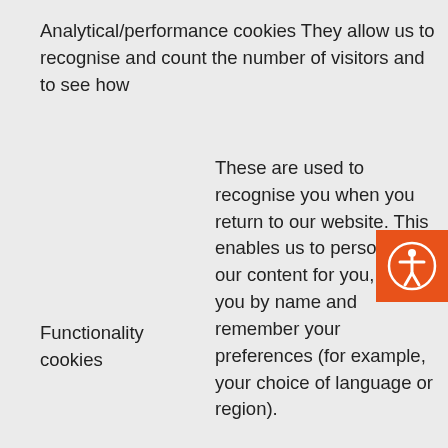Analytical/performance cookies They allow us to recognise and count the number of visitors and to see how
Functionality cookies
These are used to recognise you when you return to our website. This enables us to personalise our content for you, greet you by name and remember your preferences (for example, your choice of language or region).
Targeting
These cookies record your visit to our website, the pages you have visited and the links you have followed. We will use this information to make our
[Figure (other): Accessibility icon button — orange square with white person-in-circle symbol]